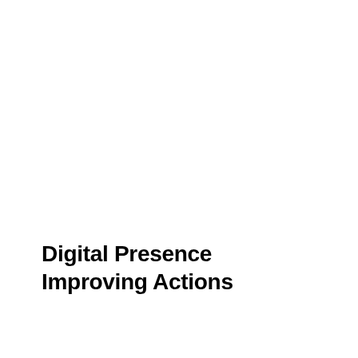Digital Presence Improving Actions